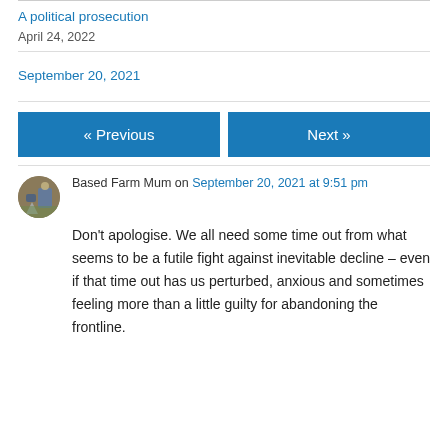A political prosecution
April 24, 2022
September 20, 2021
« Previous
Next »
Based Farm Mum on September 20, 2021 at 9:51 pm
Don't apologise. We all need some time out from what seems to be a futile fight against inevitable decline – even if that time out has us perturbed, anxious and sometimes feeling more than a little guilty for abandoning the frontline.